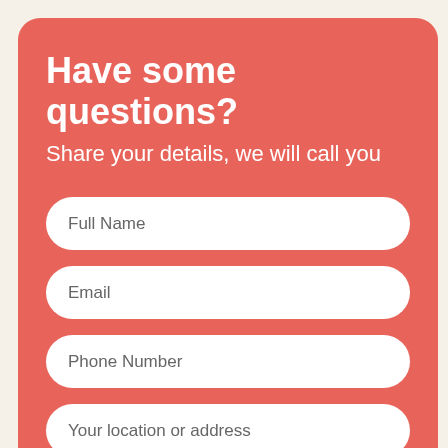Have some questions?
Share your details, we will call you
Full Name
Email
Phone Number
Your location or address